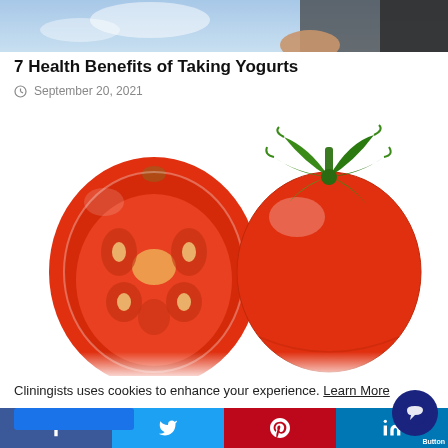[Figure (photo): Partial photo of a person in dark clothing with blue sky background, cropped at bottom]
7 Health Benefits of Taking Yogurts
September 20, 2021
[Figure (photo): Two tomatoes on white background: one halved showing inside, one whole with green stem]
Cliningists uses cookies to enhance your experience. Learn More
Facebook Twitter Pinterest LinkedIn share button